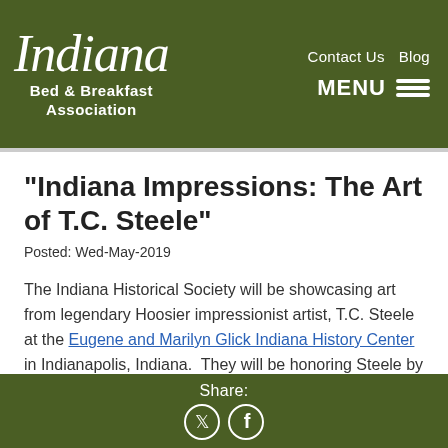Indiana Bed & Breakfast Association — Contact Us  Blog  MENU
"Indiana Impressions: The Art of T.C. Steele"
Posted: Wed-May-2019
The Indiana Historical Society will be showcasing art from legendary Hoosier impressionist artist, T.C. Steele at the Eugene and Marilyn Glick Indiana History Center in Indianapolis, Indiana.  They will be honoring Steele by exhibiting 42 paintings of his work from private collectors.  The
Share: